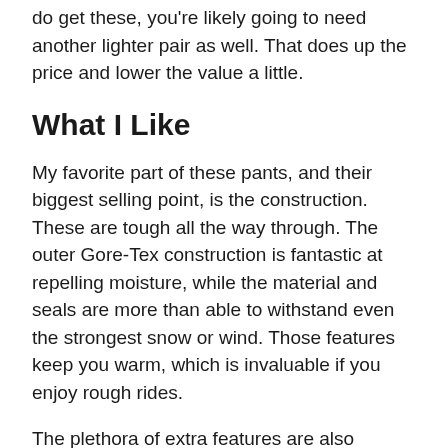do get these, you're likely going to need another lighter pair as well. That does up the price and lower the value a little.
What I Like
My favorite part of these pants, and their biggest selling point, is the construction. These are tough all the way through. The outer Gore-Tex construction is fantastic at repelling moisture, while the material and seals are more than able to withstand even the strongest snow or wind. Those features keep you warm, which is invaluable if you enjoy rough rides.
The plethora of extra features are also something like. The...